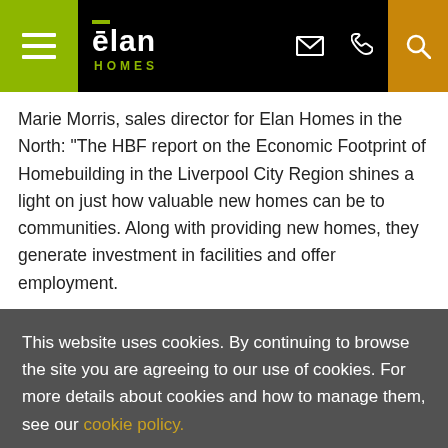[Figure (logo): Elan Homes website header with hamburger menu (olive/green background), Elan Homes logo in white with olive overline on black background, email, phone, and search icons; search icon on orange/amber background]
Marie Morris, sales director for Elan Homes in the North: “The HBF report on the Economic Footprint of Homebuilding in the Liverpool City Region shines a light on just how valuable new homes can be to communities. Along with providing new homes, they generate investment in facilities and offer employment.
This website uses cookies. By continuing to browse the site you are agreeing to our use of cookies. For more details about cookies and how to manage them, see our cookie policy.
CONTINUE
LEARN MORE